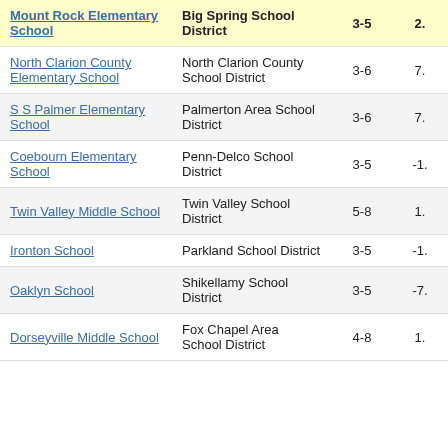| School | District | Grades | Value |
| --- | --- | --- | --- |
| Mount Rock Elementary School | Big Spring School District | 3-5 | 2. |
| North Clarion County Elementary School | North Clarion County School District | 3-6 | 7. |
| S S Palmer Elementary School | Palmerton Area School District | 3-6 | 7. |
| Coebourn Elementary School | Penn-Delco School District | 3-5 | -1. |
| Twin Valley Middle School | Twin Valley School District | 5-8 | 1. |
| Ironton School | Parkland School District | 3-5 | -1. |
| Oaklyn School | Shikellamy School District | 3-5 | -7. |
| Dorseyville Middle School | Fox Chapel Area School District | 4-8 | 1. |